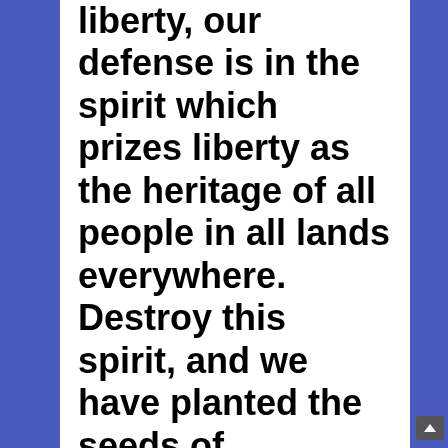liberty, our defense is in the spirit which prizes liberty as the heritage of all people in all lands everywhere. Destroy this spirit, and we have planted the seeds of despotism at our own doors. Those who deny freedom to others deserve it not for